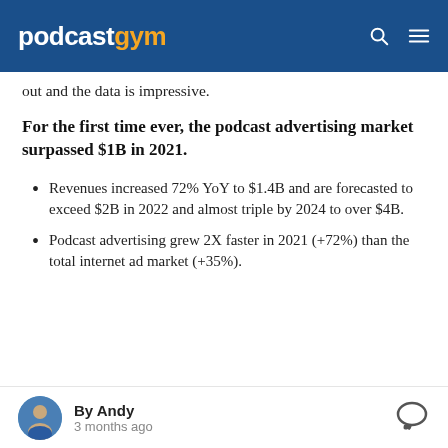podcastgym
out and the data is impressive.
For the first time ever, the podcast advertising market surpassed $1B in 2021.
Revenues increased 72% YoY to $1.4B and are forecasted to exceed $2B in 2022 and almost triple by 2024 to over $4B.
Podcast advertising grew 2X faster in 2021 (+72%) than the total internet ad market (+35%).
By Andy · 3 months ago